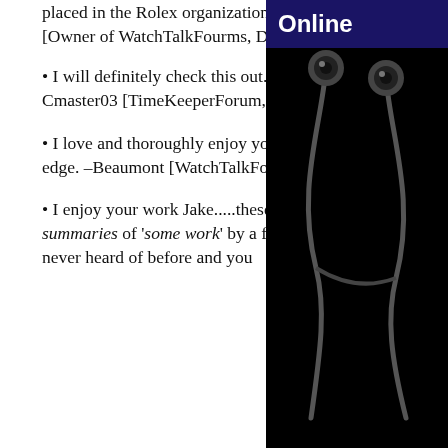placed in the Rolex organization cannot be understated. It's Unprecedented. –John Hollbrook [Owner of WatchTalkFourms, December 10, 200]
• I will definitely check this out. Can't find this kind of stuff anywhere else. Thanks, Jake. –Cmaster03 [TimeKeeperForum, December 10, 2008]
• I love and thoroughly enjoy your watch blog site. With your podcasts it is truly on the cutting edge. –Beaumont [WatchTalkForums Rolex Forum, December 16, 2008]
• I enjoy your work Jake.....these days many Rolex books out there are copies of copies of summaries of 'some work' by a few people. I like your approach....A LOT OF NEW things never heard of before and you
[Figure (photo): Right column showing 'Online' banner in dark navy blue with white bold text, and below it a black background with earbuds/headphones image in dark grey tones.]